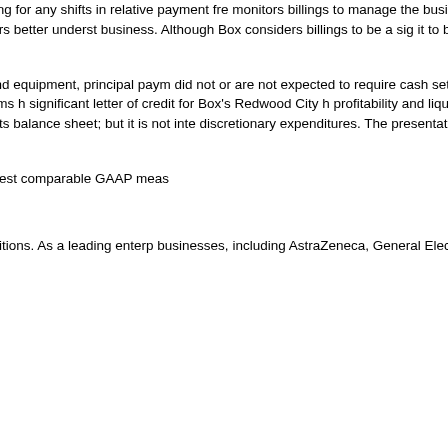revenue ratably over the subscription term. Box considers billings, after adjusting for any shifts in relative payment frequency, monitors billings to manage the business, make planning decisions, and allocate resources. Box believes that billings offers valuable supplemental insight of the business and will help investors better understand the state of the business. Although Box considers billings to be a significant metric, it to be a non-GAAP financial measure given that it is derived from revenue, both of which are financial measures calculated under GAAP.
Free cash flow. Box defines free cash flow as cash (used in) provided by operating activities, less purchases of property and equipment, principal payments of financing leases for assets that did not or are not expected to require cash settlements for the underlying asset, and costs associated with Box's core business. Box specifically identifies adjustments made to reconcile these non-GAAP financial measures. Historically, these items have included charges related to a significant letter of credit for Box's Redwood City headquarters. Free cash flow is a profitability and liquidity measure that provides useful information to management and investors about the amount of cash generated by the business that can possibly be used for investing in the business and strengthening its balance sheet; but it is not intended to represent the residual cash flow available for discretionary expenditures. The presentation of non-GAAP free cash flow is not meant to be considered in isolation or as an alternative to cash flows from operations as measures of liquidity.
The accompanying tables have more details on the reconciliation of these non-GAAP and key metrics to their nearest comparable GAAP measures.
About Box
Founded in 2005, Box (NYSE:BOX) is transforming the way people and businesses achieve their greatest ambitions. As a leading enterprise software company, businesses, including AstraZeneca, General Electric,